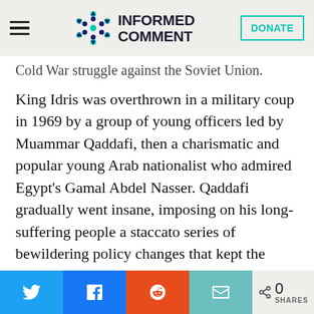INFORMED COMMENT
Cold War struggle against the Soviet Union.
King Idris was overthrown in a military coup in 1969 by a group of young officers led by Muammar Qaddafi, then a charismatic and popular young Arab nationalist who admired Egypt’s Gamal Abdel Nasser. Qaddafi gradually went insane, imposing on his long-suffering people a staccato series of bewildering policy changes that kept the country’s institutions in constant flux and destroyed
0 SHARES